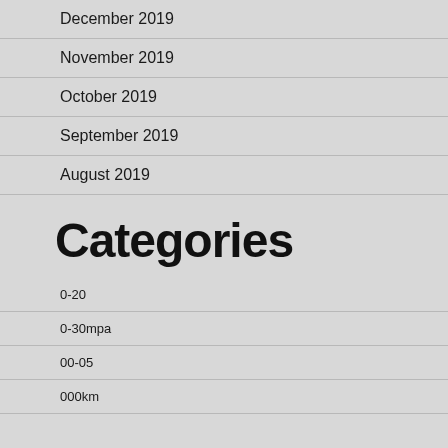December 2019
November 2019
October 2019
September 2019
August 2019
Categories
0-20
0-30mpa
00-05
000km